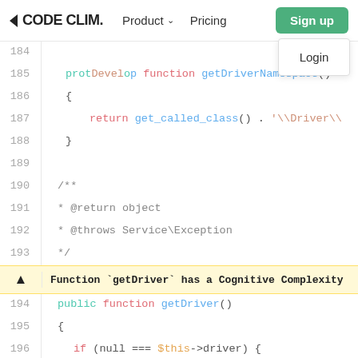CODE CLIM. Product Pricing Sign up Login
[Figure (screenshot): Code editor screenshot showing PHP code lines 184-198 with syntax highlighting. Line 185: protected function getDriverNamespace(). Line 186-188: braces. Line 187: return get_called_class() . '\Driver\'. Line 190-193: docblock comment with @return object and @throws Service\Exception. Warning banner: Function `getDriver` has a Cognitive Complexity. Line 194: public function getDriver(). Line 195: {. Line 196: if (null === $this->driver) {. Line 197: if ($this->settings && $this->setti. Line 198: $driverClass = $this->settings-.]